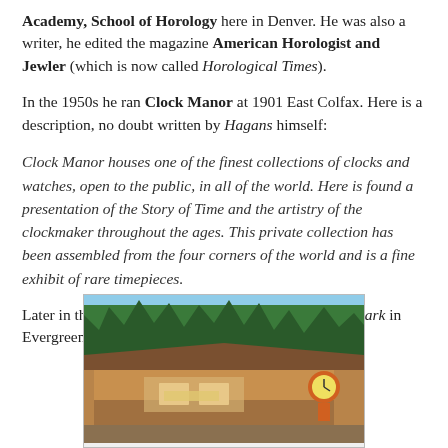Academy, School of Horology here in Denver. He was also a writer, he edited the magazine American Horologist and Jewler (which is now called Horological Times).
In the 1950s he ran Clock Manor at 1901 East Colfax. Here is a description, no doubt written by Hagans himself:
Clock Manor houses one of the finest collections of clocks and watches, open to the public, in all of the world. Here is found a presentation of the Story of Time and the artistry of the clockmaker throughout the ages. This private collection has been assembled from the four corners of the world and is a fine exhibit of rare timepieces.
Later in the 1960's Orville Hagans moved to Bergen Park in Evergreen and took Clock Manor with him.
[Figure (photo): A vintage postcard-style photograph of Clock Manor, a low ranch-style building with a brown roof, surrounded by tall evergreen trees. An orange clock sculpture is visible on the right side of the building.]